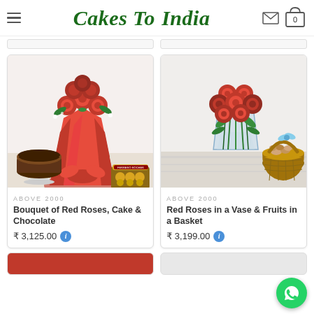Cakes To India
[Figure (photo): Bouquet of red roses wrapped in red paper with a chocolate cake and Ferrero Rocher chocolates]
ABOVE 2000
Bouquet of Red Roses, Cake & Chocolate
₹ 3,125.00
[Figure (photo): Red roses in a glass vase with a basket of dry fruits]
ABOVE 2000
Red Roses in a Vase & Fruits in a Basket
₹ 3,199.00